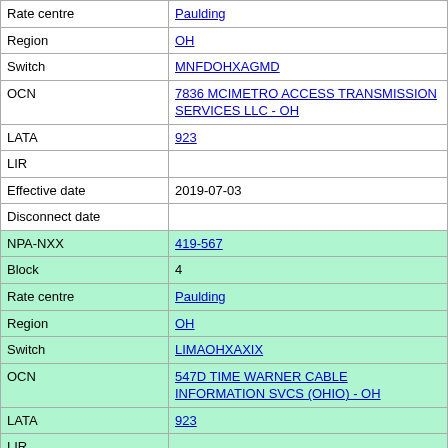| Field | Value |
| --- | --- |
| Rate centre | Paulding |
| Region | OH |
| Switch | MNFDOHXAGMD |
| OCN | 7836 MCIMETRO ACCESS TRANSMISSION SERVICES LLC - OH |
| LATA | 923 |
| LIR |  |
| Effective date | 2019-07-03 |
| Disconnect date |  |
| NPA-NXX | 419-567 |
| Block | 4 |
| Rate centre | Paulding |
| Region | OH |
| Switch | LIMAOHXAXIX |
| OCN | 547D TIME WARNER CABLE INFORMATION SVCS (OHIO) - OH |
| LATA | 923 |
| LIR |  |
| Effective date | 2008-08-12 |
| Disconnect date |  |